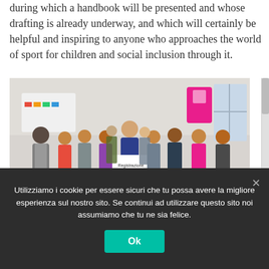during which a handbook will be presented and whose drafting is already underway, and which will certainly be helpful and inspiring to anyone who approaches the world of sport for children and social inclusion through it.
[Figure (photo): Group photo of approximately 20 people standing together in a bright room, smiling and holding a sign. There is a colorful banner and a pink display board visible in the background.]
Utilizziamo i cookie per essere sicuri che tu possa avere la migliore esperienza sul nostro sito. Se continui ad utilizzare questo sito noi assumiamo che tu ne sia felice.